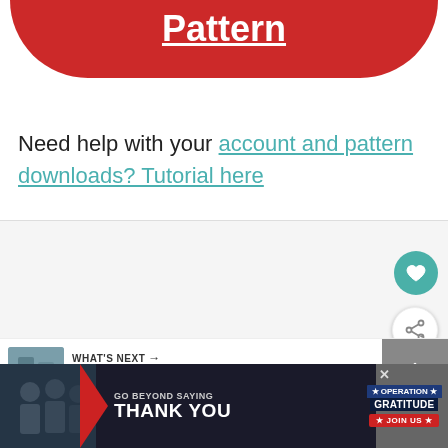Pattern
Need help with your account and pattern downloads? Tutorial here
[Figure (screenshot): White content area with heart (favorite) button in teal and share button in white, with 'What's Next' panel showing 'Womens Button Front...' thumbnail]
[Figure (infographic): Advertisement banner: GO BEYOND SAYING THANK YOU - Operation Gratitude JOIN US, with close button]